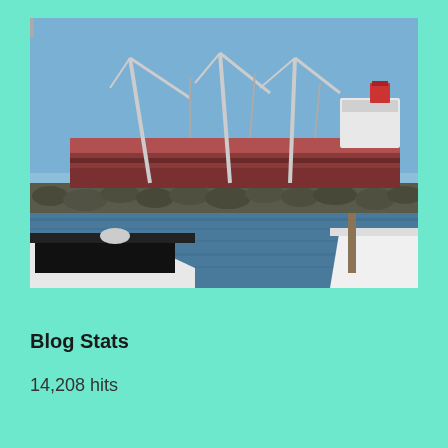[Figure (photo): Harbor scene with cargo ships and cranes docked at a breakwater, viewed from a marina with sailboats in the foreground]
Blog Stats
14,208 hits